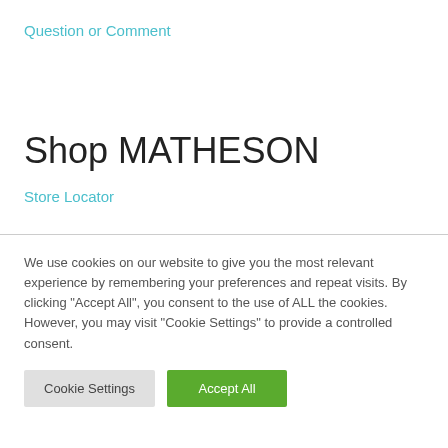Question or Comment
Shop MATHESON
Store Locator
We use cookies on our website to give you the most relevant experience by remembering your preferences and repeat visits. By clicking “Accept All”, you consent to the use of ALL the cookies. However, you may visit “Cookie Settings” to provide a controlled consent.
Cookie Settings | Accept All